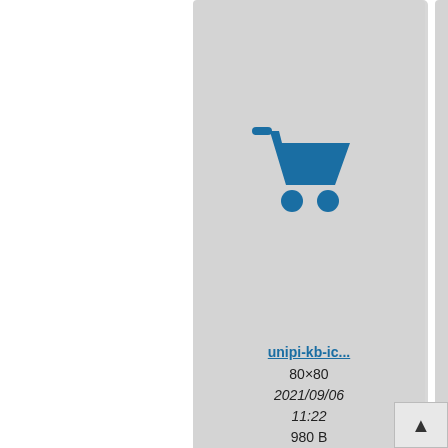[Figure (screenshot): File browser grid view showing icon thumbnails. Top row: three image cards with shopping cart icons (unipi-kb-ic..., 80x80, 2021/09/06 11:22, 980 B; unipi-kb-ic..., 80x80, 2021/09/06 11:22, 1.2 KB; partial third card). Bottom row: three image cards (SysFS text icon unipi-kb-ic..., 80x80, 2021/09/03 12:31, 1.1 KB; graduation cap icon unipi-kb-ic..., 80x60, 2021/02/18 07:31, 917 B; partial third card with zip icon and scroll button).]